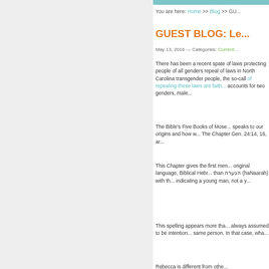You are here: Home >> Blog >> GU...
GUEST BLOG: Le...
May 13, 2016 — Categories: Current...
There has been a recent spate of laws protecting people of all genders... repeal of laws in North Carolina... transgender people, the so-call... of repealing these laws are faith... accounts for two genders, male...
The Bible's Five Books of Mose... speaks to our origins and how w... The Chapter Gen. 24:14, 16, ar...
This Chapter gives the first men... original language, Biblical Hebr... than הנערה (haNaarah) with th... indicating a young man, not a y...
This spelling appears more tha... always assumed to be intention... same person. In that case, wha...
Rebecca is different from othe...